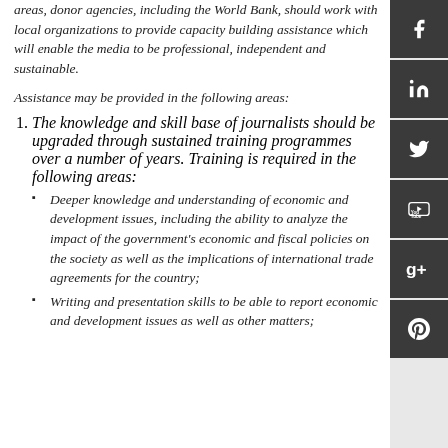areas, donor agencies, including the World Bank, should work with local organizations to provide capacity building assistance which will enable the media to be professional, independent and sustainable.
Assistance may be provided in the following areas:
The knowledge and skill base of journalists should be upgraded through sustained training programmes over a number of years. Training is required in the following areas:
Deeper knowledge and understanding of economic and development issues, including the ability to analyze the impact of the government's economic and fiscal policies on the society as well as the implications of international trade agreements for the country;
Writing and presentation skills to be able to report economic and development issues as well as other matters;